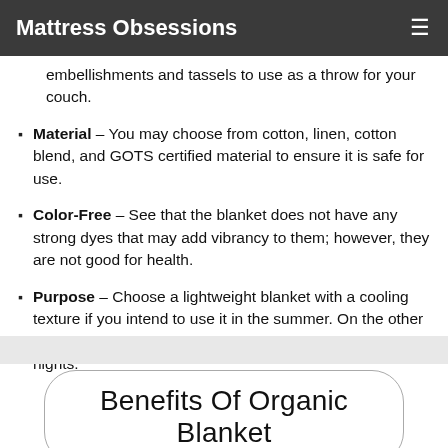Mattress Obsessions
embellishments and tassels to use as a throw for your couch.
Material – You may choose from cotton, linen, cotton blend, and GOTS certified material to ensure it is safe for use.
Color-Free – See that the blanket does not have any strong dyes that may add vibrancy to them; however, they are not good for health.
Purpose – Choose a lightweight blanket with a cooling texture if you intend to use it in the summer. On the other hand, pick a heavy and cozy blanket for cold winter nights.
Benefits Of Organic Blanket